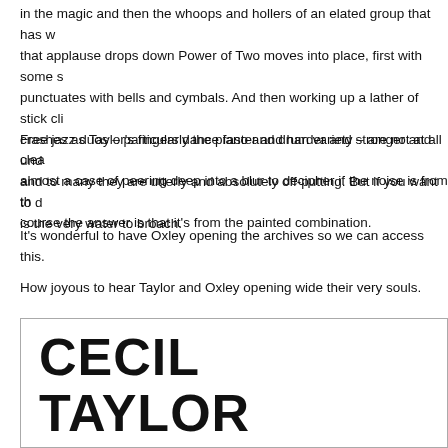in the magic and then the whoops and hollers of an elated group that has w... that applause drops down Power of Two moves into place, first with some s... punctuates with bells and cymbals. And then working up a lather of stick cli... crashes as Taylor's fingers dance faster and harder and stronger and clear... almost a case of peering deep into a blur to decipher if the noise is from the... course the answer is that it's from the painted combination.
Free jazz duos – particularly the piano and drum variety – are not at all und... and to many they are utterly and absolutely off-putting. But if you want to d... is the very water to broach.
It's wonderful to have Oxley opening the archives so we can access this.
How joyous to hear Taylor and Oxley opening wide their very souls.
[Figure (other): Box with large title 'CECIL TAYLOR' and subtitle '"....... being astral and all registers – pow...']